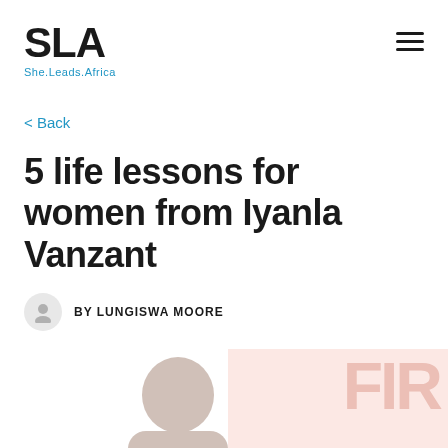SLA She.Leads.Africa
< Back
5 life lessons for women from Iyanla Vanzant
BY LUNGISWA MOORE
[Figure (photo): Partial image showing a person's silhouette/head against a peach/salmon watermark background with large decorative text]